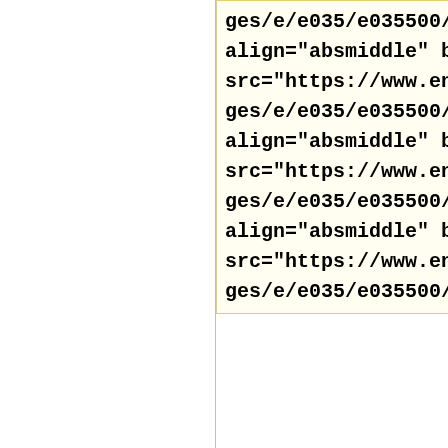ges/e/e035/e035500/e035500... align="absmiddle" border="0" src="https://www.encyclopedia ges/e/e035/e035500/e03550085 align="absmiddle" border="0" src="https://www.encyclopedia ges/e/e035/e035500/e03550086 align="absmiddle" border="0" src="https://www.encyclopedia ges/e/e035/e035500/e03550087